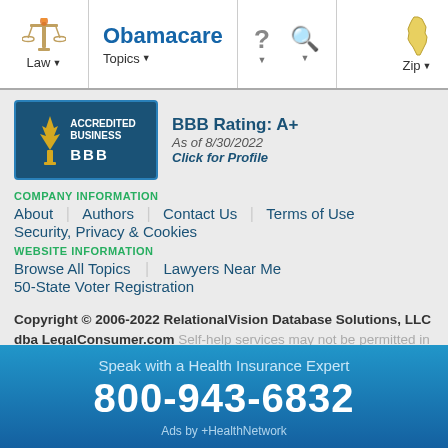Law | Obamacare Topics | ? | Search | Zip
[Figure (logo): BBB Accredited Business badge with teal background, torch icon, and 'ACCREDITED BUSINESS' text; BBB Rating: A+ as of 8/30/2022, Click for Profile]
COMPANY INFORMATION
About
Authors
Contact Us
Terms of Use
Security, Privacy & Cookies
WEBSITE INFORMATION
Browse All Topics
Lawyers Near Me
50-State Voter Registration
Copyright © 2006-2022 RelationalVision Database Solutions, LLC dba LegalConsumer.com Self-help services may not be permitted in all states. The information provided on this site is not legal advice, does not constitute a lawyer referral service, and no attorney-client or confidential relationship is or will be formed by use of the site. The sponsored attorney advertisements on this site
Speak with a Health Insurance Expert
800-943-6832
Ads by +HealthNetwork